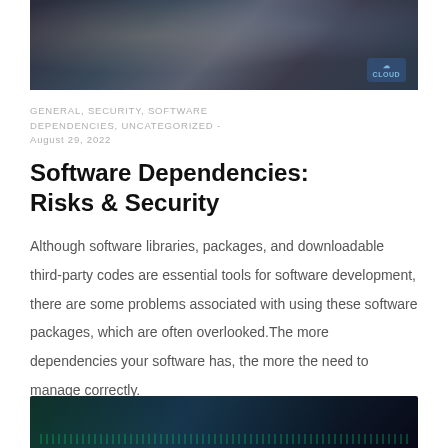[Figure (photo): Dark photo of hands typing on a keyboard, with a cloud logo watermark in the bottom right corner]
GENERAL, SECURITY, SOFTWARE DEPENDENCIES, UNCATEGORIZED - August 29, 2022
Software Dependencies: Risks & Security
Although software libraries, packages, and downloadable third-party codes are essential tools for software development, there are some problems associated with using these software packages, which are often overlooked.The more dependencies your software has, the more the need to manage correctly.
[Figure (photo): Dark photo showing a computer screen with code or terminal output, partially visible at the bottom of the page]